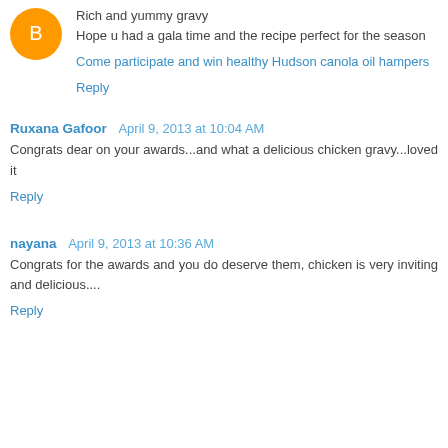Rich and yummy gravy
Hope u had a gala time and the recipe perfect for the season
Come participate and win healthy Hudson canola oil hampers
Reply
Ruxana Gafoor  April 9, 2013 at 10:04 AM
Congrats dear on your awards...and what a delicious chicken gravy...loved it
Reply
nayana  April 9, 2013 at 10:36 AM
Congrats for the awards and you do deserve them, chicken is very inviting and delicious....
Reply